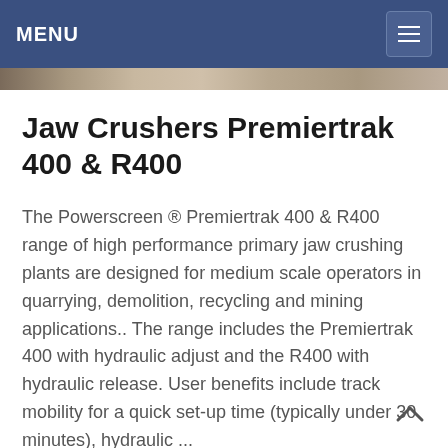MENU
Jaw Crushers Premiertrak 400 & R400
The Powerscreen ® Premiertrak 400 & R400 range of high performance primary jaw crushing plants are designed for medium scale operators in quarrying, demolition, recycling and mining applications.. The range includes the Premiertrak 400 with hydraulic adjust and the R400 with hydraulic release. User benefits include track mobility for a quick set-up time (typically under 30 minutes), hydraulic ...